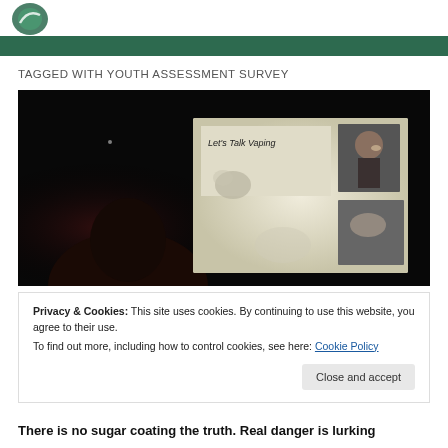[Logo: green circular emblem]
TAGGED WITH YOUTH ASSESSMENT SURVEY
[Figure (photo): A dark auditorium scene showing a projection screen displaying a presentation slide titled 'Let's Talk Vaping' with images of people vaping. A silhouetted audience member is visible in the foreground.]
Privacy & Cookies: This site uses cookies. By continuing to use this website, you agree to their use.
To find out more, including how to control cookies, see here: Cookie Policy
There is no sugar coating the truth. Real danger is lurking